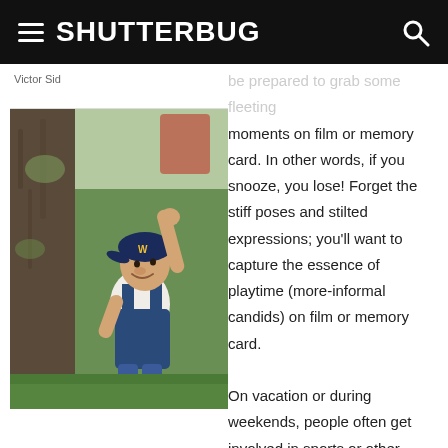SHUTTERBUG
Victor Sid
[Figure (photo): Young boy wearing a navy baseball cap and denim overalls, climbing a tree trunk outdoors on grass]
be prepared to grab some fleeting moments on film or memory card. In other words, if you snooze, you lose! Forget the stiff poses and stilted expressions; you'll want to capture the essence of playtime (more-informal candids) on film or memory card.

On vacation or during weekends, people often get involved in sports or other recreational activities that can produce great action shots. When shooting film, it's best to use high-